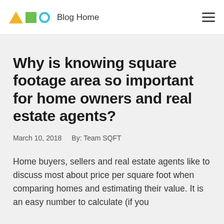Blog Home
Why is knowing square footage area so important for home owners and real estate agents?
March 10, 2018    By: Team SQFT
Home buyers, sellers and real estate agents like to discuss most about price per square foot when comparing homes and estimating their value. It is an easy number to calculate (if you